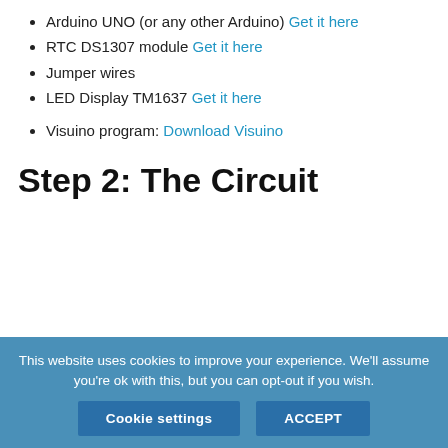Arduino UNO (or any other Arduino) Get it here
RTC DS1307 module Get it here
Jumper wires
LED Display TM1637 Get it here
Visuino program: Download Visuino
Step 2: The Circuit
This website uses cookies to improve your experience. We'll assume you're ok with this, but you can opt-out if you wish. Cookie settings ACCEPT